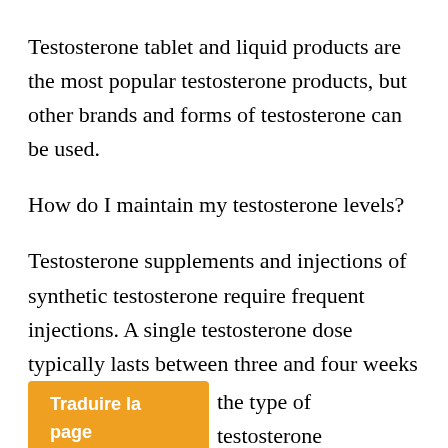Testosterone tablet and liquid products are the most popular testosterone products, but other brands and forms of testosterone can be used.
How do I maintain my testosterone levels?
Testosterone supplements and injections of synthetic testosterone require frequent injections. A single testosterone dose typically lasts between three and four weeks [Traduire la page] the type of testosterone